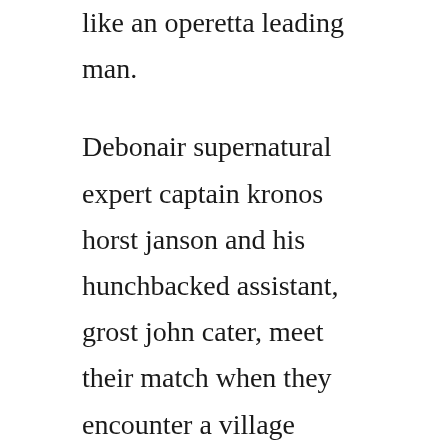like an operetta leading man. Debonair supernatural expert captain kronos horst janson and his hunchbacked assistant, grost john cater, meet their match when they encounter a village where vampires have been stealing the. Captain kronos vampire hunter is a 1974 british swashbuckling action horror film, written and directed by brian clemens, produced by clemens and albert fennell for hammer film productions, and starring horst janson, john carson, shane briant, and caroline munro. Suspecting a supernatural evil at